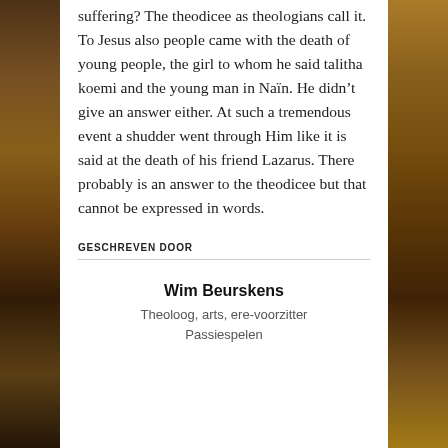suffering? The theodicee as theologians call it. To Jesus also people came with the death of young people, the girl to whom he said talitha koemi and the young man in Naïn. He didn't give an answer either. At such a tremendous event a shudder went through Him like it is said at the death of his friend Lazarus. There probably is an answer to the theodicee but that cannot be expressed in words.
GESCHREVEN DOOR
Wim Beurskens
Theoloog, arts, ere-voorzitter Passiespelen